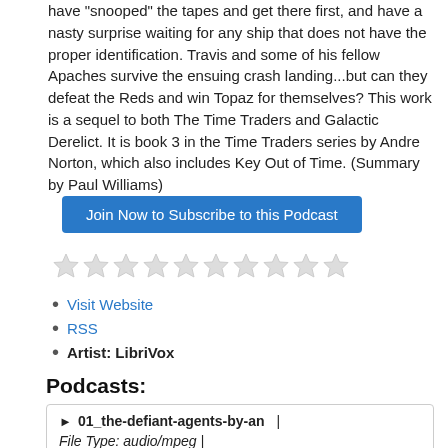have "snooped" the tapes and get there first, and have a nasty surprise waiting for any ship that does not have the proper identification. Travis and some of his fellow Apaches survive the ensuing crash landing...but can they defeat the Reds and win Topaz for themselves? This work is a sequel to both The Time Traders and Galactic Derelict. It is book 3 in the Time Traders series by Andre Norton, which also includes Key Out of Time. (Summary by Paul Williams)
Visit Website
RSS
Artist: LibriVox
Podcasts:
| File | File Type | Duration |
| --- | --- | --- |
| 01_the-defiant-agents-by-an | audio/mpeg | 23:49 |
| 02_the-defiant-agents-by-an | audio/mpeg | 22:58 |